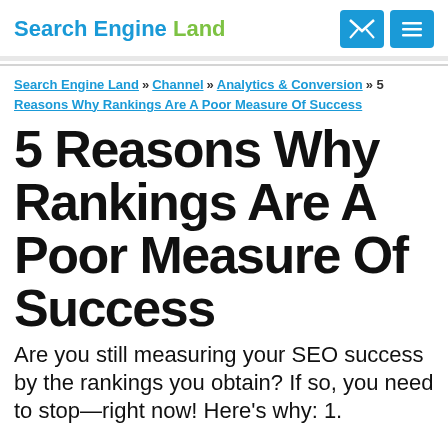Search Engine Land
Search Engine Land » Channel » Analytics & Conversion » 5 Reasons Why Rankings Are A Poor Measure Of Success
5 Reasons Why Rankings Are A Poor Measure Of Success
Are you still measuring your SEO success by the rankings you obtain? If so, you need to stop—right now! Here's why: 1.